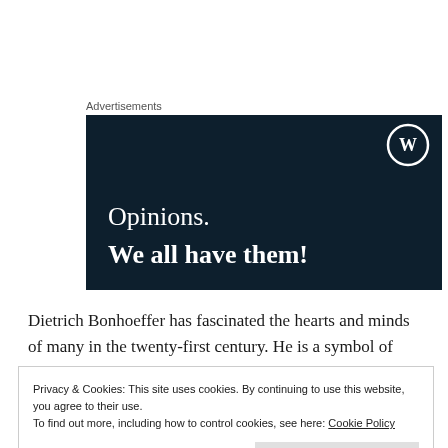Advertisements
[Figure (illustration): WordPress advertisement banner with dark navy background, WordPress logo (W in circle) in top right, text 'Opinions.' in white serif font and 'We all have them!' in bold white serif font]
Dietrich Bonhoeffer has fascinated the hearts and minds of many in the twenty-first century. He is a symbol of courage
Privacy & Cookies: This site uses cookies. By continuing to use this website, you agree to their use.
To find out more, including how to control cookies, see here: Cookie Policy
Close and accept